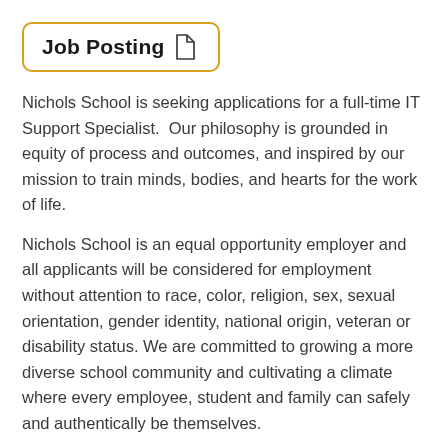Job Posting
Nichols School is seeking applications for a full-time IT Support Specialist.  Our philosophy is grounded in equity of process and outcomes, and inspired by our mission to train minds, bodies, and hearts for the work of life.
Nichols School is an equal opportunity employer and all applicants will be considered for employment without attention to race, color, religion, sex, sexual orientation, gender identity, national origin, veteran or disability status. We are committed to growing a more diverse school community and cultivating a climate where every employee, student and family can safely and authentically be themselves.
Nichols School offers a competitive benefit package